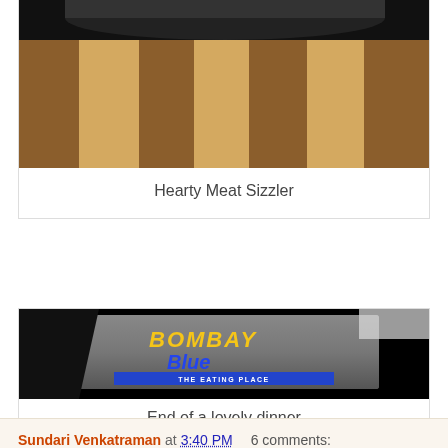[Figure (photo): Photo of a sizzler dish on a striped wooden surface, partially cropped at top]
Hearty Meat Sizzler
[Figure (photo): Night photo of Bombay Blue The Eating Place restaurant sign with yellow and blue illuminated lettering]
End of a lovely dinner
Sundari Venkatraman at 3:40 PM    6 comments: